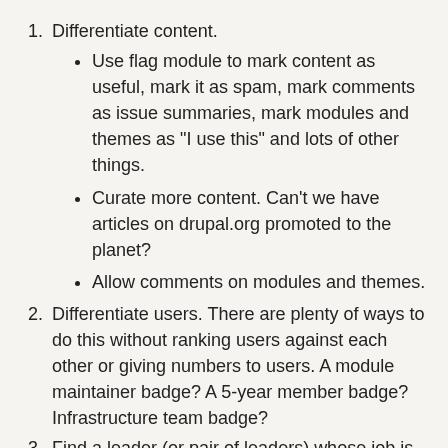Differentiate content.
Use flag module to mark content as useful, mark it as spam, mark comments as issue summaries, mark modules and themes as "I use this" and lots of other things.
Curate more content. Can't we have articles on drupal.org promoted to the planet?
Allow comments on modules and themes.
Differentiate users. There are plenty of ways to do this without ranking users against each other or giving numbers to users. A module maintainer badge? A 5-year member badge? Infrastructure team badge?
Find a leader (or pair of leaders) whose job is to promote the quality of the content of drupal.org. Right now, we tend to make decisions on things only based on infrastructure requirements, but